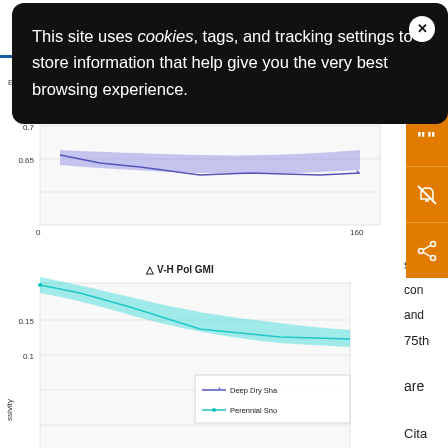AMS — American Meteorological Society
This site uses cookies, tags, and tracking settings to store information that help give you the very best browsing experience.
[Figure (continuous-plot): Line chart showing Emissivity vs Frequency [GHz] for Deep Dry Snow and Perennial Snow, upper chart (partially obscured by cookie overlay). Y-axis from 0.65 to 0.75+ range, x-axis 0 to 180 GHz.]
[Figure (continuous-plot): Lower chart titled '△ V-H Pol GMI' showing emissivity difference vs frequency for Deep Dry Snow and Perennial Snow. Y-axis shows 0.1 and 0.15 tick marks. Legend shows Deep Dry Snow (blue line with asterisk) and Perennial Snow (cyan line with dot).]
△ V-H Pol GMI
sno
con
and
75th
are
Cita